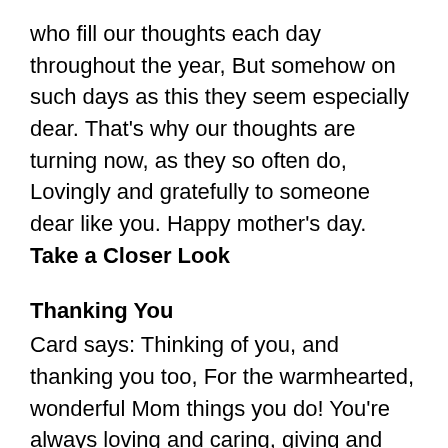who fill our thoughts each day throughout the year, But somehow on such days as this they seem especially dear. That's why our thoughts are turning now, as they so often do, Lovingly and gratefully to someone dear like you. Happy mother's day. Take a Closer Look
Thanking You
Card says: Thinking of you, and thanking you too, For the warmhearted, wonderful Mom things you do! You're always loving and caring, giving and sharing. Happy Mother's Day, With Love. Take a Closer Look
Loving Thoughts
Card says: For a special Mom. With many loving thoughts of you, For all you've done and all you